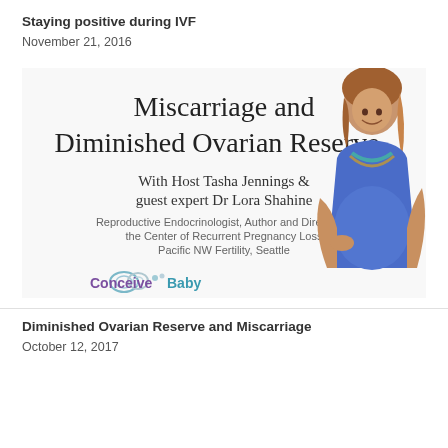Staying positive during IVF
November 21, 2016
[Figure (infographic): Promotional image for a podcast/webinar titled 'Miscarriage and Diminished Ovarian Reserve' with Host Tasha Jennings and guest expert Dr Lora Shahine, Reproductive Endocrinologist, Author and Director of the Center of Recurrent Pregnancy Loss, Pacific NW Fertility, Seattle. Features a pregnant woman in a blue top and the Conceive Baby logo.]
Diminished Ovarian Reserve and Miscarriage
October 12, 2017